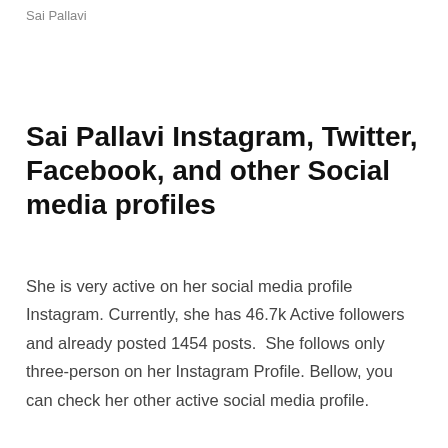Sai Pallavi
Sai Pallavi Instagram, Twitter, Facebook, and other Social media profiles
She is very active on her social media profile Instagram. Currently, she has 46.7k Active followers and already posted 1454 posts.  She follows only three-person on her Instagram Profile. Bellow, you can check her other active social media profile.